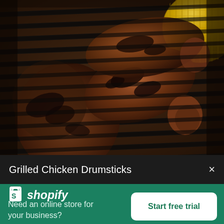[Figure (photo): Close-up photo of grilled chicken drumsticks on a dark barbecue grill with charred grill marks, with corn on the cob visible in the top right corner]
Grilled Chicken Drumsticks
[Figure (logo): Shopify logo with shopping bag icon and italic wordmark]
Need an online store for your business?
Start free trial